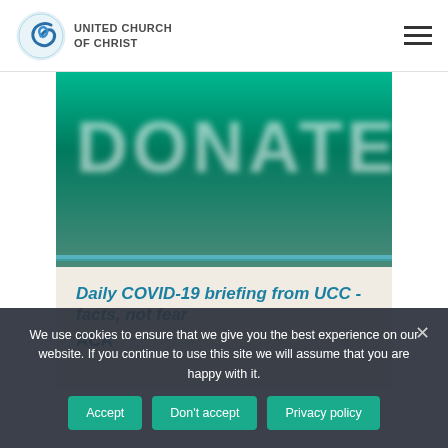[Figure (logo): United Church of Christ logo with blue spiral icon and text]
[Figure (photo): Green donate banner image with blurred text 'DONATE']
Daily COVID-19 briefing from UCC - facts, not fear
ACA...
We use cookies to ensure that we give you the best experience on our website. If you continue to use this site we will assume that you are happy with it.